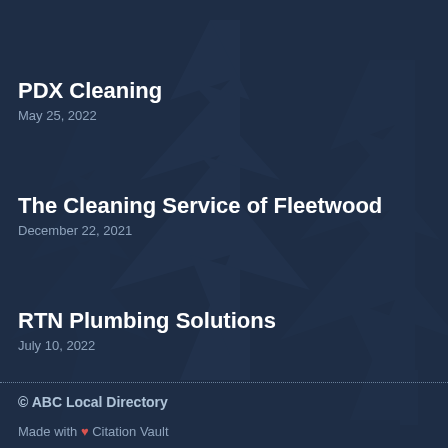PDX Cleaning
May 25, 2022
The Cleaning Service of Fleetwood
December 22, 2021
RTN Plumbing Solutions
July 10, 2022
© ABC Local Directory
Made with ❤ Citation Vault